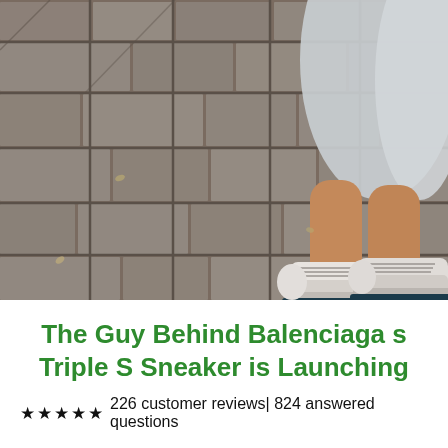[Figure (photo): Person wearing chunky white Balenciaga Triple S sneakers, standing on a gray paved stone sidewalk, wearing a light gray/silver dress. The photo is taken from a low angle showing legs and feet on the pavement.]
The Guy Behind Balenciaga s Triple S Sneaker is Launching
★★★★★ 226 customer reviews| 824 answered questions